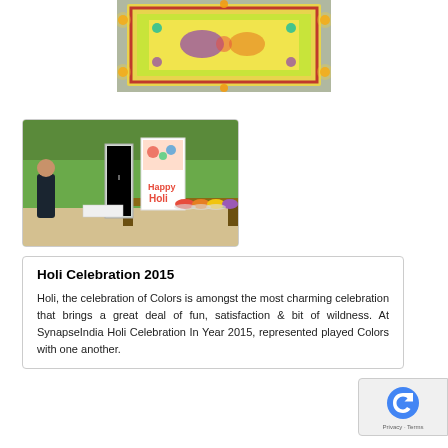[Figure (photo): Colorful rangoli art on the ground with candles/diyas surrounding it, viewed from above. Features a yellow background with decorative patterns and a red border.]
[Figure (photo): Holi celebration setup outdoors with a banner reading 'Holi', colorful powder mounds on a table, a person standing near a steel refrigerator, and green hedge in the background.]
Holi Celebration 2015
Holi, the celebration of Colors is amongst the most charming celebration that brings a great deal of fun, satisfaction & bit of wildness. At SynapseIndia Holi Celebration In Year 2015, represent played Colors with one another.